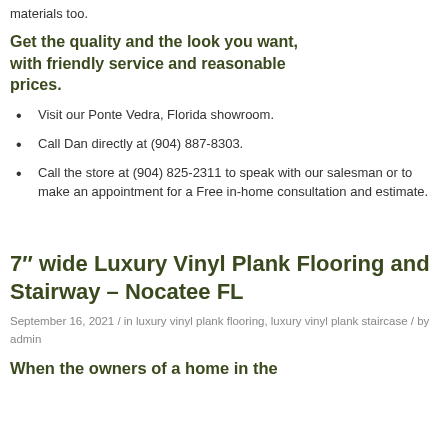materials too.
Get the quality and the look you want, with friendly service and reasonable prices.
Visit our Ponte Vedra, Florida showroom.
Call Dan directly at (904) 887-8303.
Call the store at (904) 825-2311 to speak with our salesman or to make an appointment for a Free in-home consultation and estimate.
7″ wide Luxury Vinyl Plank Flooring and Stairway – Nocatee FL
September 16, 2021 / in luxury vinyl plank flooring, luxury vinyl plank staircase / by admin
When the owners of a home in the